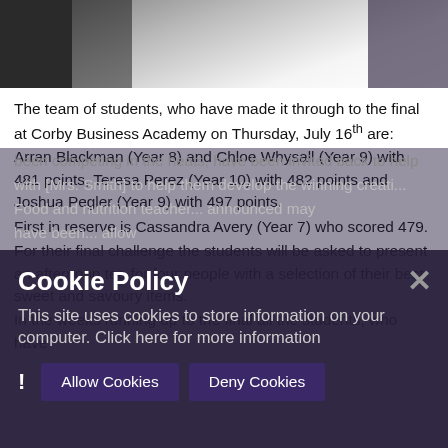[Figure (photo): Partial photo of students in dark clothing at top of page]
The team of students, who have made it through to the final at Corby Business Academy on Thursday, July 16th are: Arran Blackman (Year 8) and Chloe Whysall (Year 9) with 481 points, Teresa Perez (Year 10) with 482 points and Joshua Pegler (Year 9) with 497 points.
First in reserve is Cassandra Avery (Year 7) who scored 479.
For their final challenge the students will be asked to present an afternoon tea for four people with a selection of their best sweet and savoury items.
In the weeks running up to the final all the students, who have been competing in the heats, have been invited back to help with [text continues behind overlay]...
Cookie Policy
This site uses cookies to store information on your computer. Click here for more information
Allow Cookies   Deny Cookies